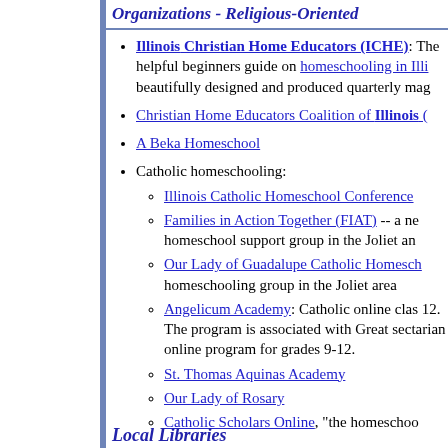Organizations - Religious-Oriented
Illinois Christian Home Educators (ICHE): The helpful beginners guide on homeschooling in Illi... beautifully designed and produced quarterly mag...
Christian Home Educators Coalition of Illinois (
A Beka Homeschool
Catholic homeschooling: Illinois Catholic Homeschool Conference; Families in Action Together (FIAT) -- a ne... homeschool support group in the Joliet an...; Our Lady of Guadalupe Catholic Homesch... homeschooling group in the Joliet area; Angelicum Academy: Catholic online clas... 12. The program is associated with Great ... sectarian online program for grades 9-12.; St. Thomas Aquinas Academy; Our Lady of Rosary; Catholic Scholars Online, "the homeschoo..."
Local Libraries